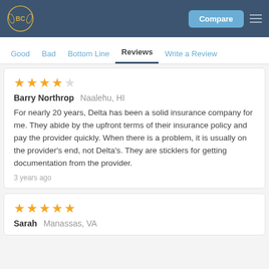BC logo | Compare | menu
Good  Bad  Bottom Line  Reviews  Write a Review
Barry Northrop  Naalehu, HI
For nearly 20 years, Delta has been a solid insurance company for me. They abide by the upfront terms of their insurance policy and pay the provider quickly. When there is a problem, it is usually on the provider's end, not Delta's. They are sticklers for getting documentation from the provider.
3 years ago
Sarah  Manassas, VA